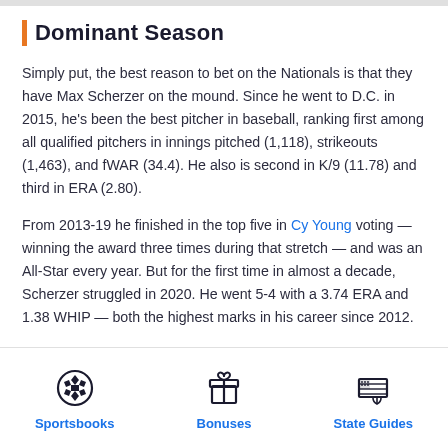Dominant Season
Simply put, the best reason to bet on the Nationals is that they have Max Scherzer on the mound. Since he went to D.C. in 2015, he's been the best pitcher in baseball, ranking first among all qualified pitchers in innings pitched (1,118), strikeouts (1,463), and fWAR (34.4). He also is second in K/9 (11.78) and third in ERA (2.80).
From 2013-19 he finished in the top five in Cy Young voting — winning the award three times during that stretch — and was an All-Star every year. But for the first time in almost a decade, Scherzer struggled in 2020. He went 5-4 with a 3.74 ERA and 1.38 WHIP — both the highest marks in his career since 2012.
Sportsbooks | Bonuses | State Guides